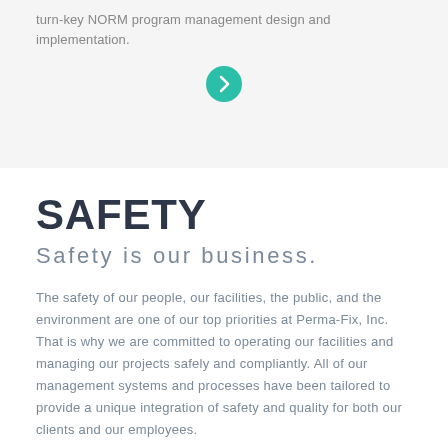turn-key NORM program management design and implementation.
[Figure (illustration): Teal/green circular button with a right-facing chevron arrow icon]
SAFETY
Safety is our business.
The safety of our people, our facilities, the public, and the environment are one of our top priorities at Perma-Fix, Inc. That is why we are committed to operating our facilities and managing our projects safely and compliantly. All of our management systems and processes have been tailored to provide a unique integration of safety and quality for both our clients and our employees.